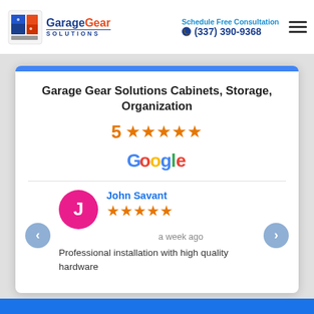Garage Gear Solutions | Schedule Free Consultation | (337) 390-9368
Garage Gear Solutions Cabinets, Storage, Organization
5 ★★★★★
[Figure (logo): Google logo]
John Savant
★★★★★
a week ago
Professional installation with high quality hardware